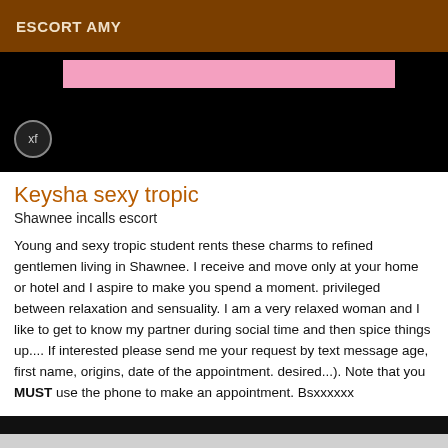ESCORT AMY
[Figure (photo): Black background image area with a pink strip at the top and a circular XF badge/button in the lower left corner]
Keysha sexy tropic
Shawnee incalls escort
Young and sexy tropic student rents these charms to refined gentlemen living in Shawnee. I receive and move only at your home or hotel and I aspire to make you spend a moment. privileged between relaxation and sensuality. I am a very relaxed woman and I like to get to know my partner during social time and then spice things up.... If interested please send me your request by text message age, first name, origins, date of the appointment. desired...). Note that you MUST use the phone to make an appointment. Bsxxxxxx